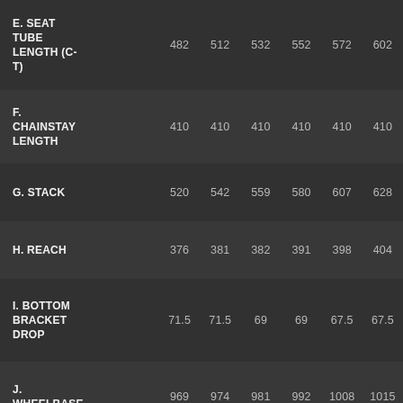| Spec | Size1 | Size2 | Size3 | Size4 | Size5 | Size6 |
| --- | --- | --- | --- | --- | --- | --- |
| E. SEAT TUBE LENGTH (C-T) | 482 | 512 | 532 | 552 | 572 | 602 |
| F. CHAINSTAY LENGTH | 410 | 410 | 410 | 410 | 410 | 410 |
| G. STACK | 520 | 542 | 559 | 580 | 607 | 628 |
| H. REACH | 376 | 381 | 382 | 391 | 398 | 404 |
| I. BOTTOM BRACKET DROP | 71.5 | 71.5 | 69 | 69 | 67.5 | 67.5 |
| J. WHEELBASE | 969 | 974 | 981 | 992 | 1008 | 1015 |
| K. STANDOVER HEIGHT (W/700X28) | 750 | 775 | 791 | 815 | 839 | 862 |